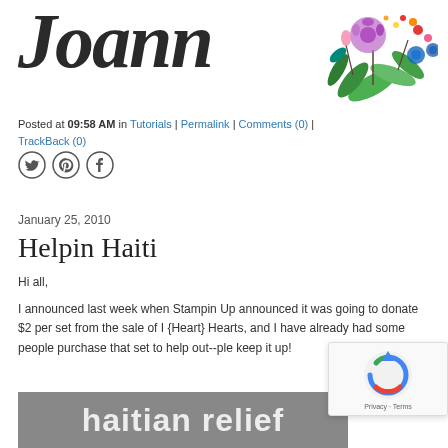[Figure (illustration): Blog header with brush-script 'Joann' text in dark ink and colorful watercolor floral decoration in the top right corner]
Posted at 09:58 AM in Tutorials | Permalink | Comments (0) | TrackBack (0)
[Figure (illustration): Social media share icons: Twitter, Pinterest, Facebook]
January 25, 2010
Helpin Haiti
Hi all,
I announced last week when Stampin Up announced it was going to donate $2 per set from the sale of I {Heart} Hearts, and I have already had some people purchase that set to help out--ple keep it up!
[Figure (photo): Haitian relief banner image with text 'haitian relief' in white on a gray/dark background]